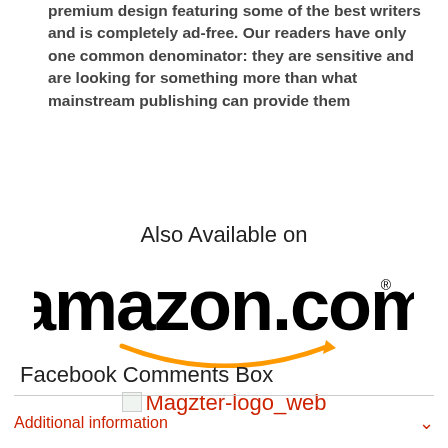premium design featuring some of the best writers and is completely ad-free. Our readers have only one common denominator: they are sensitive and are looking for something more than what mainstream publishing can provide them
Also Available on
[Figure (logo): Amazon.com logo with orange smile/arrow underneath]
[Figure (logo): Magzter logo web (broken image placeholder shown in red text)]
Facebook Comments Box
Additional information